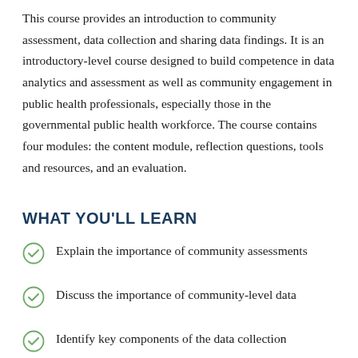This course provides an introduction to community assessment, data collection and sharing data findings. It is an introductory-level course designed to build competence in data analytics and assessment as well as community engagement in public health professionals, especially those in the governmental public health workforce. The course contains four modules: the content module, reflection questions, tools and resources, and an evaluation.
WHAT YOU'LL LEARN
Explain the importance of community assessments
Discuss the importance of community-level data
Identify key components of the data collection